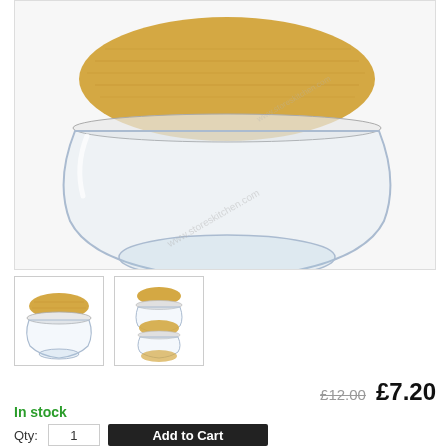[Figure (photo): Glass bowl with bamboo lid shown from front angle on white background with watermark]
[Figure (photo): Thumbnail 1: Single glass bowl with bamboo lid, small size]
[Figure (photo): Thumbnail 2: Stack of multiple glass bowls with bamboo lids]
£12.00  £7.20
In stock
Qty:  1   Add to Cart